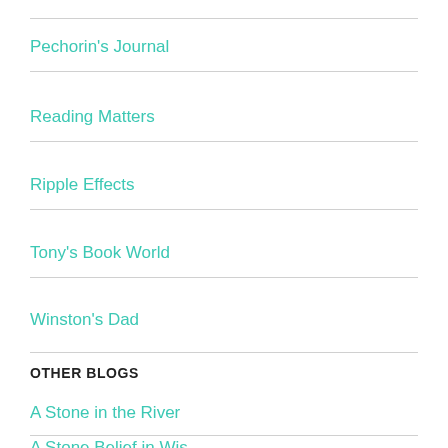Pechorin's Journal
Reading Matters
Ripple Effects
Tony's Book World
Winston's Dad
OTHER BLOGS
A Stone in the River
A Stone Belief in Wis…